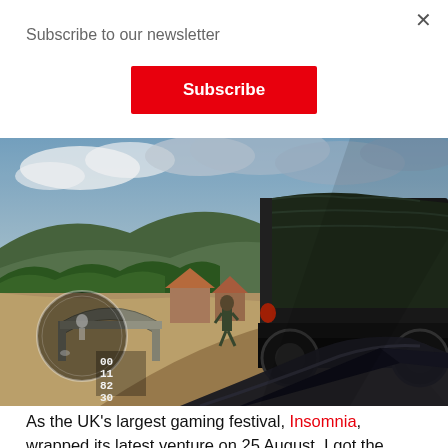Subscribe to our newsletter
Subscribe
[Figure (screenshot): First-person shooter video game screenshot showing a rural village scene with a military truck, a soldier running, stone bridge, and farmhouses in the background. HUD elements visible in the bottom-left corner showing ammo counts: 00, 11, 82, 30.]
As the UK’s largest gaming festival, Insomnia, wrapped its latest venture on 25 August, I got the chance to review